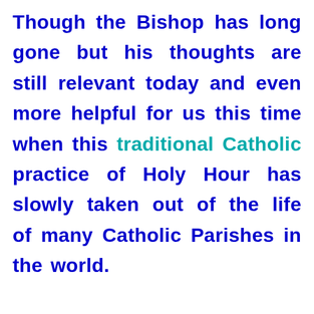Though the Bishop has long gone but his thoughts are still relevant today and even more helpful for us this time when this traditional Catholic practice of Holy Hour has slowly taken out of the life of many Catholic Parishes in the world.

Here is Bishop Fulton Sheen's